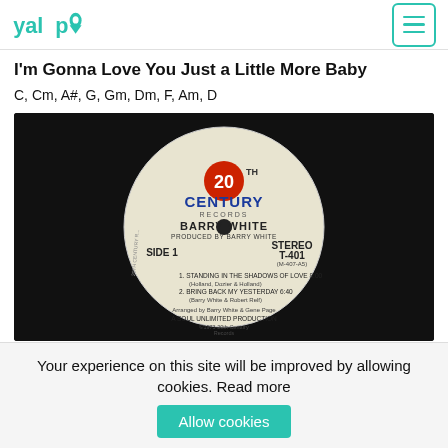[Figure (logo): Yalp logo in teal/turquoise color with hamburger menu icon on the right]
I'm Gonna Love You Just a Little More Baby
C, Cm, A#, G, Gm, Dm, F, Am, D
[Figure (photo): A vinyl record label photo showing 20th Century Records label for Barry White - Side 1, Stereo T-401, with track listings: 1. Standing in the Shadows of Love 8:00 (Holland, Dozier & Holland), 2. Bring Back My Yesterday 6:40 (Barry White & Robert Relf). Arranged by Barry White & Gene Page. A Soul Unlimited Production. ©1973 20th Century Records.]
Your experience on this site will be improved by allowing cookies. Read more
Allow cookies